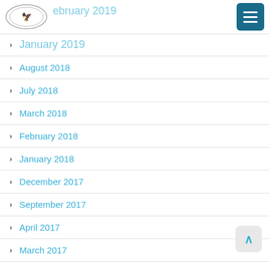February 2019
January 2019
August 2018
July 2018
March 2018
February 2018
January 2018
December 2017
September 2017
April 2017
March 2017
January 2017
December 2016
November 2016
October 2016
September 2016
August 2016